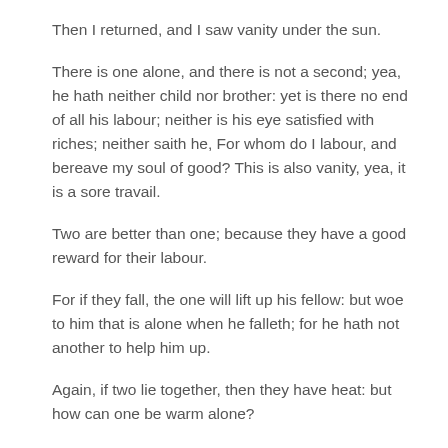Then I returned, and I saw vanity under the sun.
There is one alone, and there is not a second; yea, he hath neither child nor brother: yet is there no end of all his labour; neither is his eye satisfied with riches; neither saith he, For whom do I labour, and bereave my soul of good? This is also vanity, yea, it is a sore travail.
Two are better than one; because they have a good reward for their labour.
For if they fall, the one will lift up his fellow: but woe to him that is alone when he falleth; for he hath not another to help him up.
Again, if two lie together, then they have heat: but how can one be warm alone?
And if one prevail against him, two shall withstand him; and a threefold cord is not